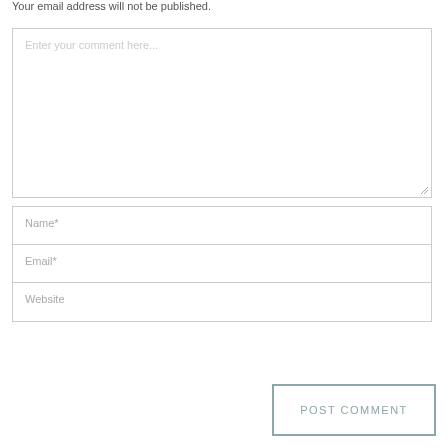Your email address will not be published.
[Figure (screenshot): Comment textarea with placeholder text 'Enter your comment here...' and resize handle]
Name*
Email*
Website
POST COMMENT